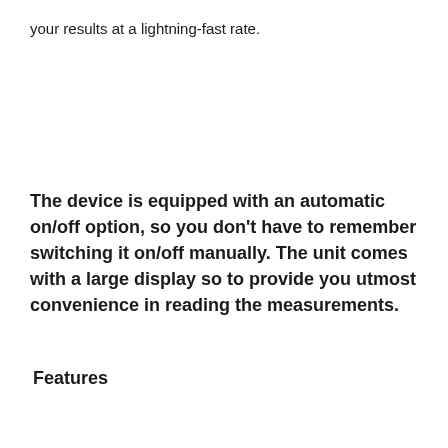your results at a lightning-fast rate.
The device is equipped with an automatic on/off option, so you don't have to remember switching it on/off manually. The unit comes with a large display so to provide you utmost convenience in reading the measurements.
Features